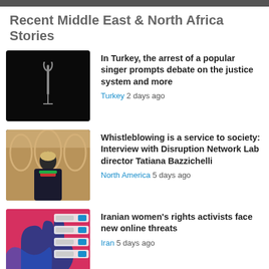Recent Middle East & North Africa Stories
[Figure (photo): Dark/black image with a microphone silhouette]
In Turkey, the arrest of a popular singer prompts debate on the justice system and more
Turkey  2 days ago
[Figure (photo): Woman with blonde hair standing in a classical building interior]
Whistleblowing is a service to society: Interview with Disruption Network Lab director Tatiana Bazzichelli
North America  5 days ago
[Figure (illustration): Iranian women's rights graphic with fist and social media interface elements in pink, blue and red]
Iranian women's rights activists face new online threats
Iran  5 days ago